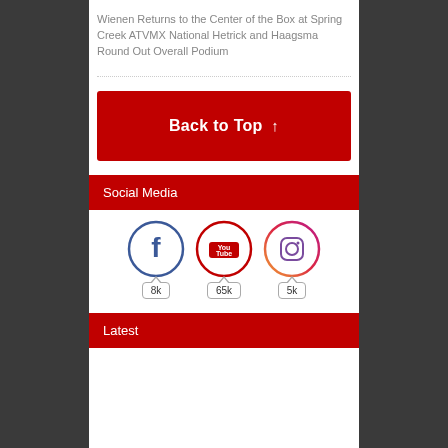Wienen Returns to the Center of the Box at Spring Creek ATVMX National Hetrick and Haagsma Round Out Overall Podium
[Figure (infographic): Back to Top button - red rectangle with white bold text 'Back to Top ↑']
Social Media
[Figure (infographic): Three social media icons in circles: Facebook (8k followers), YouTube (65k subscribers), Instagram (5k followers), each with a count badge below]
Latest